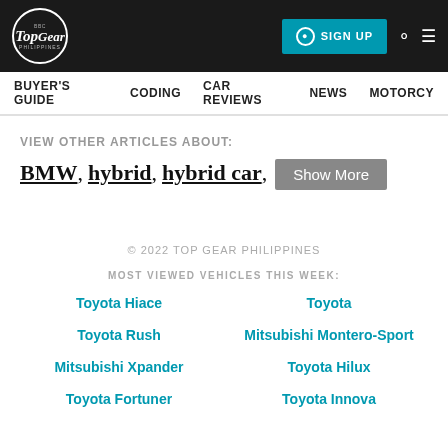Top Gear Philippines — SIGN UP | BUYER'S GUIDE | CODING | CAR REVIEWS | NEWS | MOTORCY
VIEW OTHER ARTICLES ABOUT:
BMW, hybrid, hybrid car, Show More
© 2022 TOP GEAR PHILIPPINES
MOST VIEWED VEHICLES THIS WEEK:
Toyota Hiace
Toyota
Toyota Rush
Mitsubishi Montero-Sport
Mitsubishi Xpander
Toyota Hilux
Toyota Fortuner
Toyota Innova